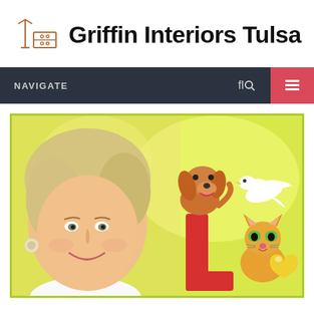[Figure (logo): Furniture/interior design icon: a floor lamp next to a dresser/cabinet, drawn in outline style, brownish-orange color]
Griffin Interiors Tulsa
NAVIGATE
[Figure (photo): A smiling middle-aged blonde woman with short styled hair on the left side, and on the right a colorful illustration with a cartoon dog sitting on a red letter 'L', a white dove, and an orange cat with green eyes with a yellow heart, all on a yellow-green background. The image is bordered with a lime green border.]